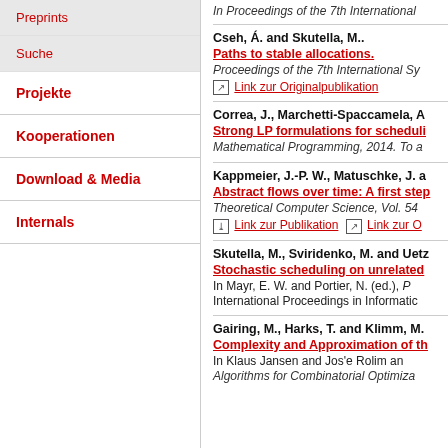Preprints
Suche
Projekte
Kooperationen
Download & Media
Internals
In Proceedings of the 7th International...
Cseh, Á. and Skutella, M.. Paths to stable allocations. Proceedings of the 7th International Sy...
Link zur Originalpublikation
Correa, J., Marchetti-Spaccamela, A... Strong LP formulations for scheduli... Mathematical Programming, 2014. To a...
Kappmeier, J.-P. W., Matuschke, J. a... Abstract flows over time: A first step... Theoretical Computer Science, Vol. 54...
Link zur Publikation | Link zur O...
Skutella, M., Sviridenko, M. and Uetz... Stochastic scheduling on unrelated... In Mayr, E. W. and Portier, N. (ed.), P... International Proceedings in Informatic...
Gairing, M., Harks, T. and Klimm, M... Complexity and Approximation of th... In Klaus Jansen and Jos'e Rolim an... Algorithms for Combinatorial Optimiza...